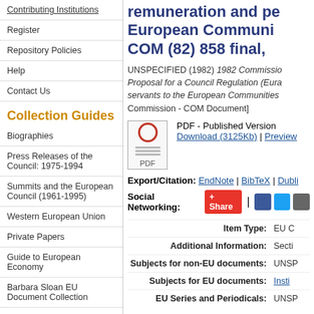Contributing Institutions
Register
Repository Policies
Help
Contact Us
Collection Guides
Biographies
Press Releases of the Council: 1975-1994
Summits and the European Council (1961-1995)
Western European Union
Private Papers
Guide to European Economy
Barbara Sloan EU Document Collection
Search and Browse
remuneration and pe European Communi COM (82) 858 final,
UNSPECIFIED (1982) 1982 Commissio Proposal for a Council Regulation (Eura servants to the European Communities Commission - COM Document]
[Figure (other): PDF icon]
PDF - Published Version Download (3125Kb) | Preview
Export/Citation: EndNote | BibTeX | Dubli
Social Networking: Share | social icons
| Field | Value |
| --- | --- |
| Item Type: | EU C |
| Additional Information: | Secti |
| Subjects for non-EU documents: | UNSP |
| Subjects for EU documents: | Insti |
| EU Series and Periodicals: | UNSP |